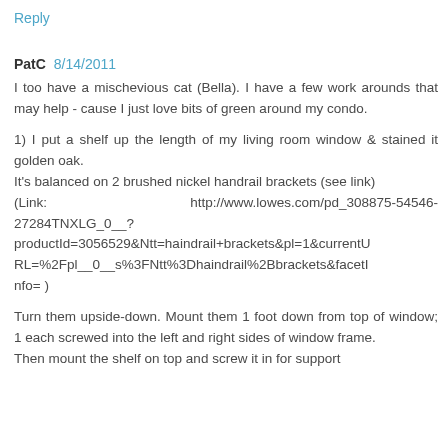Reply
PatC 8/14/2011
I too have a mischevious cat (Bella). I have a few work arounds that may help - cause I just love bits of green around my condo.
1) I put a shelf up the length of my living room window & stained it golden oak.
It's balanced on 2 brushed nickel handrail brackets (see link)
(Link:          http://www.lowes.com/pd_308875-54546-27284TNXLG_0__?productId=3056529&Ntt=haindrail+brackets&pl=1&currentURL=%2Fpl__0__s%3FNtt%3Dhaindrail%2Bbrackets&facetInfo= )
Turn them upside-down. Mount them 1 foot down from top of window; 1 each screwed into the left and right sides of window frame.
Then mount the shelf on top and screw it in for support